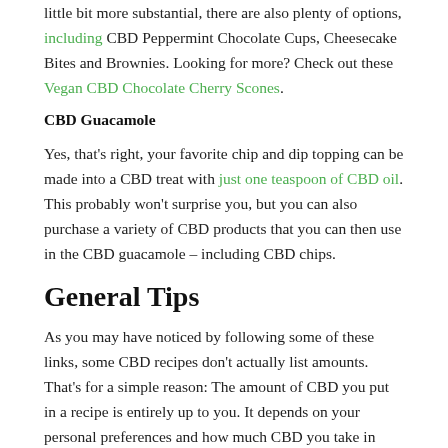little bit more substantial, there are also plenty of options, including CBD Peppermint Chocolate Cups, Cheesecake Bites and Brownies. Looking for more? Check out these Vegan CBD Chocolate Cherry Scones.
CBD Guacamole
Yes, that's right, your favorite chip and dip topping can be made into a CBD treat with just one teaspoon of CBD oil. This probably won't surprise you, but you can also purchase a variety of CBD products that you can then use in the CBD guacamole – including CBD chips.
General Tips
As you may have noticed by following some of these links, some CBD recipes don't actually list amounts. That's for a simple reason: The amount of CBD you put in a recipe is entirely up to you. It depends on your personal preferences and how much CBD you take in order to feel an impact. That's why it may not be a bad idea for you to only try cooking with CBD when you determine how